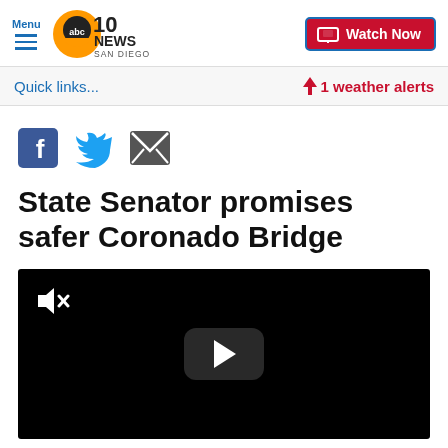Menu | abc 10 NEWS SAN DIEGO | Watch Now
Quick links...
⚡ 1 weather alerts
[Figure (other): Social share icons: Facebook, Twitter, Email]
State Senator promises safer Coronado Bridge
[Figure (screenshot): Video player with muted speaker icon and play button on black background]